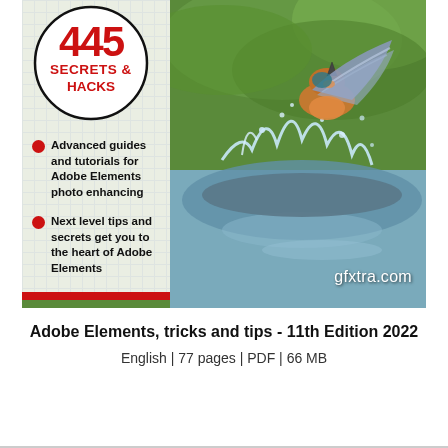[Figure (illustration): Book cover of 'Adobe Elements, tricks and tips - 11th Edition 2022' featuring a kingfisher bird diving into water with water splashes, with a left panel showing '445 SECRETS & HACKS' in a circle badge, two bullet points about advanced guides and next level tips, and a gfxtra.com watermark.]
Adobe Elements, tricks and tips - 11th Edition 2022
English | 77 pages | PDF | 66 MB
More
0